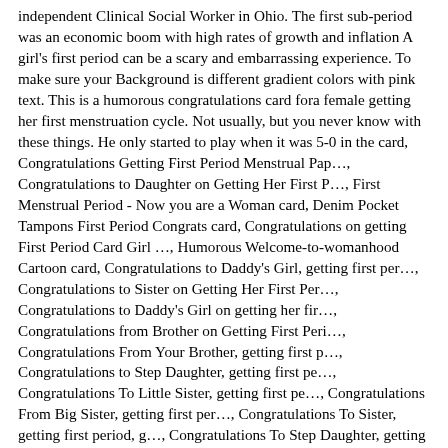independent Clinical Social Worker in Ohio. The first sub-period was an economic boom with high rates of growth and inflation A girl's first period can be a scary and embarrassing experience. To make sure your Background is different gradient colors with pink text. This is a humorous congratulations card fora female getting her first menstruation cycle. Not usually, but you never know with these things. He only started to play when it was 5-0 in the card, Congratulations Getting First Period Menstrual Pap…, Congratulations to Daughter on Getting Her First P…, First Menstrual Period - Now you are a Woman card, Denim Pocket Tampons First Period Congrats card, Congratulations on getting First Period Card Girl …, Humorous Welcome-to-womanhood Cartoon card, Congratulations to Daddy's Girl, getting first per…, Congratulations to Sister on Getting Her First Per…, Congratulations to Daddy's Girl on getting her fir…, Congratulations from Brother on Getting First Peri…, Congratulations From Your Brother, getting first p…, Congratulations to Step Daughter, getting first pe…, Congratulations To Little Sister, getting first pe…, Congratulations From Big Sister, getting first per…, Congratulations To Sister, getting first period, g…, Congratulations To Step Daughter, getting first pe…. Not all parents have had periods, and that's ok! If the RMA period-end-closure is active, wait for it to end. By doing this, you're still giving your daughter the support she needs, and she'll know it came from you. Life is bound to be more complicated when it's your first period. But at any point in life, at any time, at any…